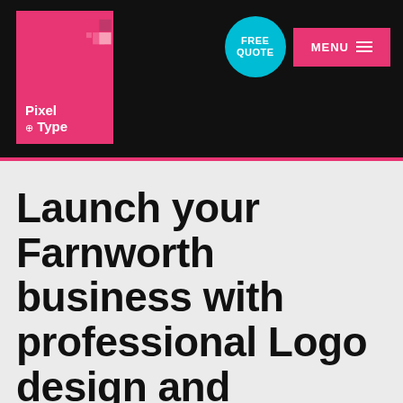[Figure (logo): Pixel & Type logo: pink square with pixel pattern and white text on black navigation header background]
Launch your Farnworth business with professional Logo design and branding that will